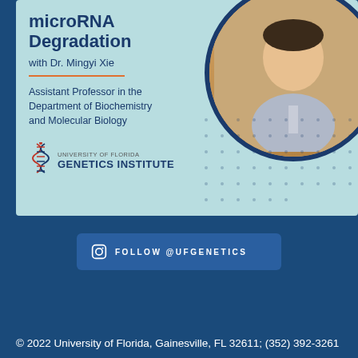[Figure (illustration): Promotional card for a University of Florida Genetics Institute seminar on microRNA Degradation with Dr. Mingyi Xie. Light blue/teal background with a circular photo of Dr. Xie (smiling Asian man in gray henley shirt), bold title text, orange divider line, description text, and UF Genetics Institute logo.]
FOLLOW @UFGENETICS
© 2022 University of Florida, Gainesville, FL 32611; (352) 392-3261